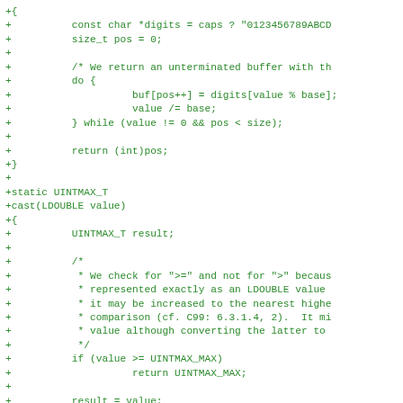Code diff showing C functions for digit conversion and LDOUBLE casting